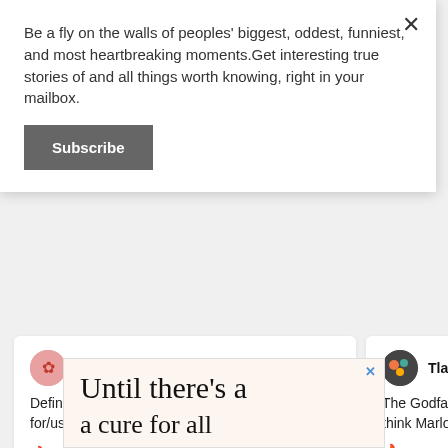Be a fly on the walls of peoples' biggest, oddest, funniest, and most heartbreaking moments.Get interesting true stories of and all things worth knowing, right in your mailbox.
Subscribe
RedClover · 2h
Definitely strangers asking for/using my name, and people...
🔥 Top Comment
TlalocW · 7 Aug
The Godfather. For on... think Marlon Brando is
🔥 Top Comment
[Figure (screenshot): Ad banner with text 'Until there's a']